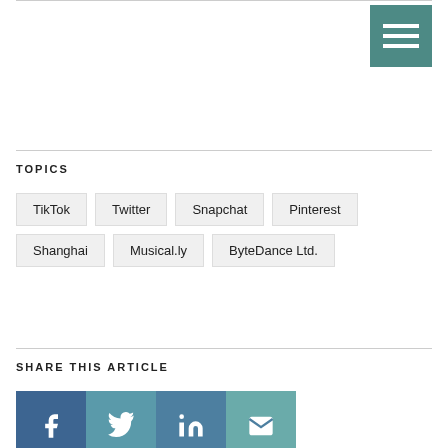[Figure (other): Hamburger menu button with teal/green background and three white horizontal lines]
TOPICS
TikTok
Twitter
Snapchat
Pinterest
Shanghai
Musical.ly
ByteDance Ltd.
SHARE THIS ARTICLE
[Figure (other): Social share buttons: Facebook (f), Twitter (bird), LinkedIn (in), Email (envelope)]